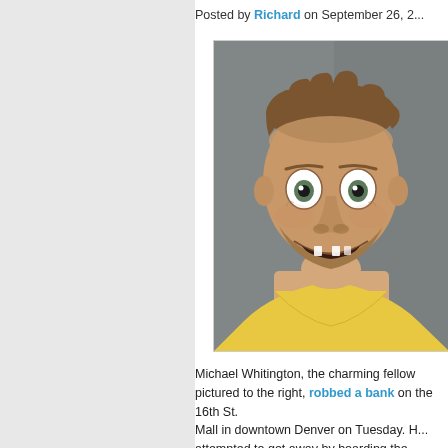Posted by Richard on September 26, 2...
[Figure (photo): Mugshot of Michael Whitington, a man with wide eyes, missing teeth, short brown hair, and a beard, wearing a yellow shirt, against a gray background.]
Michael Whitington, the charming fellow pictured to the right, robbed a bank on the 16th St. Mall in downtown Denver on Tuesday. He attempted to get away by boarding the ...